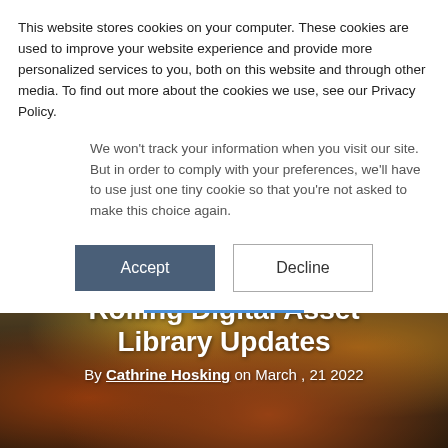This website stores cookies on your computer. These cookies are used to improve your website experience and provide more personalized services to you, both on this website and through other media. To find out more about the cookies we use, see our Privacy Policy.
We won't track your information when you visit our site. But in order to comply with your preferences, we'll have to use just one tiny cookie so that you're not asked to make this choice again.
[Figure (screenshot): Two buttons side by side: 'Accept' (dark blue/slate background, white text) and 'Decline' (white background, border, dark text)]
[Figure (photo): Hero image background showing rows of potted orange and yellow flowers (marigolds) in a greenhouse/nursery setting, with dark green foliage]
Rolling Digital Asset Library Updates
By Cathrine Hosking on March , 21 2022